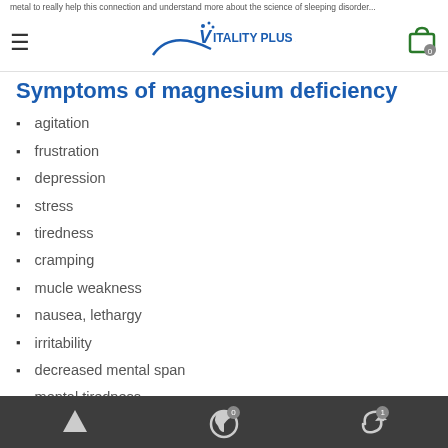Vitality Plus Australia
Symptoms of magnesium deficiency
agitation
frustration
depression
stress
tiredness
cramping
mucle weakness
nausea, lethargy
irritability
decreased mental span
mental tiredness
twitching
Navigation bar with up arrow, night mode icon (0), and share icon (1)